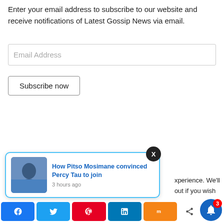Enter your email address to subscribe to our website and receive notifications of Latest Gossip News via email.
Email Address
Subscribe now
[Figure (screenshot): Notification card with image of Pitso Mosimane and Percy Tau, close (X) button, partial text 'xperience. We'll out if you wish', share buttons (Facebook, Twitter, Pinterest, LinkedIn, Mix), share icon, shares label, and blue bell notification button with badge showing 3]
How Pitso Mosimane convinced Percy Tau to join
3 hours ago